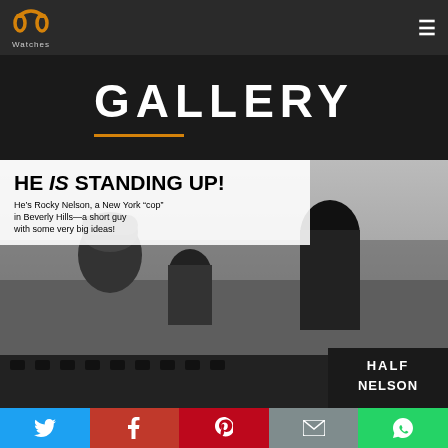PP Watches — navigation header with logo and hamburger menu
GALLERY
[Figure (photo): Black and white promotional photo for 'Half Nelson' TV show. Text overlay reads: 'HE IS STANDING UP! He's Rocky Nelson, a New York "cop" in Beverly Hills—a short guy with some very big ideas!' Shows three people: a woman in a fur hat, a short man in the center, and a tall man on the right. 'HALF NELSON' logo appears in the bottom right corner.]
Social share buttons: Twitter, Facebook, Pinterest, Email, WhatsApp